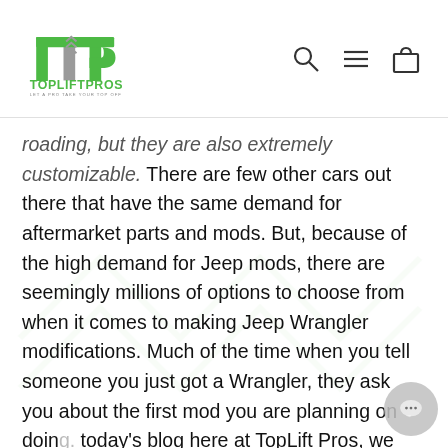TopLiftPros — Let a Pro Take Your Top Off
roading, but they are also extremely customizable. There are few other cars out there that have the same demand for aftermarket parts and mods. But, because of the high demand for Jeep mods, there are seemingly millions of options to choose from when it comes to making Jeep Wrangler modifications. Much of the time when you tell someone you just got a Wrangler, they ask you about the first mod you are planning on doing. In today's blog here at TopLift Pros, we are going to take a look at which aesthetic modifications you